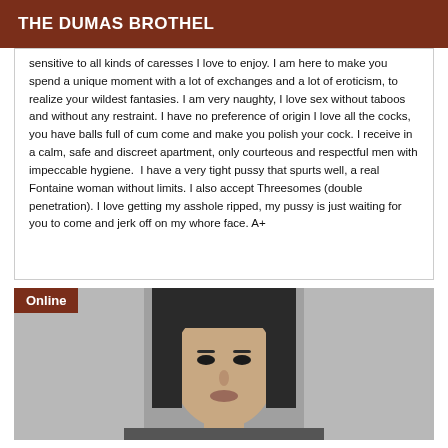THE DUMAS BROTHEL
sensitive to all kinds of caresses I love to enjoy.  I am here to make you spend a unique moment with a lot of exchanges and a lot of eroticism, to realize your wildest fantasies. I am very naughty, I love sex without taboos and without any restraint. I have no preference of origin I love all the cocks, you have balls full of cum come and make you polish your cock. I receive in a calm, safe and discreet apartment, only courteous and respectful men with impeccable hygiene.  I have a very tight pussy that spurts well, a real Fontaine woman without limits. I also accept Threesomes (double penetration). I love getting my asshole ripped, my pussy is just waiting for you to come and jerk off on my whore face. A+
[Figure (photo): Grayscale portrait photo of a woman with dark hair, with an 'Online' badge in the top-left corner]